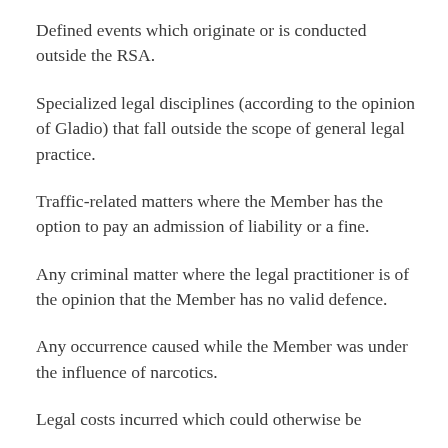Defined events which originate or is conducted outside the RSA.
Specialized legal disciplines (according to the opinion of Gladio) that fall outside the scope of general legal practice.
Traffic-related matters where the Member has the option to pay an admission of liability or a fine.
Any criminal matter where the legal practitioner is of the opinion that the Member has no valid defence.
Any occurrence caused while the Member was under the influence of narcotics.
Legal costs incurred which could otherwise be